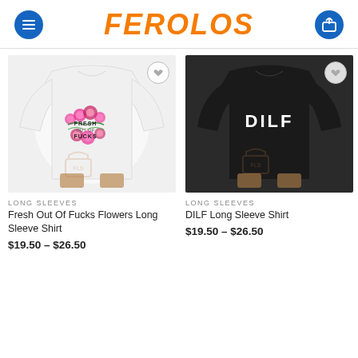FEROLOS
[Figure (photo): White long sleeve sweatshirt with floral 'Fresh Out Of Fucks' text design on chest, model wearing it, with wishlist heart icon overlay]
LONG SLEEVES
Fresh Out Of Fucks Flowers Long Sleeve Shirt
$19.50 – $26.50
[Figure (photo): Black long sleeve sweatshirt with 'DILF' text on back, model wearing it, with wishlist heart icon overlay]
LONG SLEEVES
DILF Long Sleeve Shirt
$19.50 – $26.50